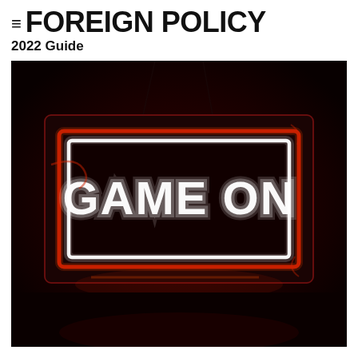≡ FOREIGN POLICY
2022 Guide
[Figure (photo): A neon sign reading 'GAME ON' in glowing white letters inside a red neon rectangular border, mounted in a dark red-tinted box-frame enclosure, suspended against a dark background.]